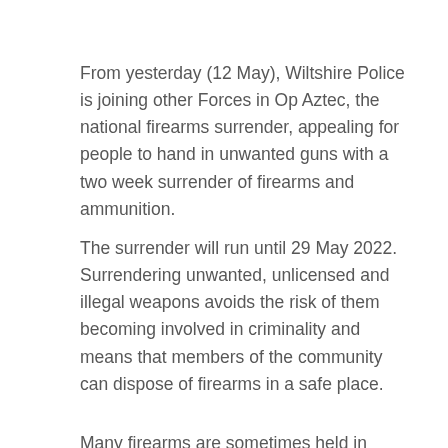From yesterday (12 May), Wiltshire Police is joining other Forces in Op Aztec, the national firearms surrender, appealing for people to hand in unwanted guns with a two week surrender of firearms and ammunition.
The surrender will run until 29 May 2022. Surrendering unwanted, unlicensed and illegal weapons avoids the risk of them becoming involved in criminality and means that members of the community can dispose of firearms in a safe place.
Many firearms are sometimes held in innocence and ignorance of their illegality or are overlooked and forgotten in people's